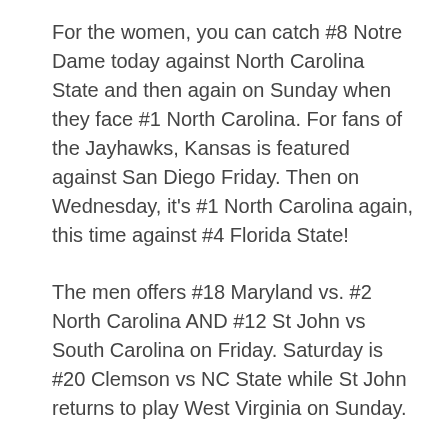For the women, you can catch #8 Notre Dame today against North Carolina State and then again on Sunday when they face #1 North Carolina. For fans of the Jayhawks, Kansas is featured against San Diego Friday. Then on Wednesday, it's #1 North Carolina again, this time against #4 Florida State!
The men offers #18 Maryland vs. #2 North Carolina AND #12 St John vs South Carolina on Friday. Saturday is #20 Clemson vs NC State while St John returns to play West Virginia on Sunday.
Finally, the FIFA Beach World Cup opens this week. In Tahiti. New bucket list item! The tournament includes the US of A who are part of Group A with Spain, hosts Tahiti and the United Arab Emirates. ESPN3 is broadcasting several games a day and the US opens play on Thursday